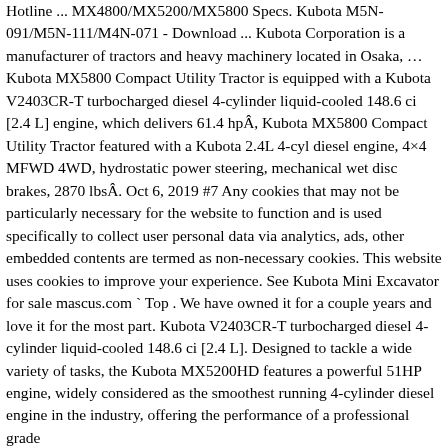Hotline ... MX4800/MX5200/MX5800 Specs. Kubota M5N-091/M5N-111/M4N-071 - Download ... Kubota Corporation is a manufacturer of tractors and heavy machinery located in Osaka, … Kubota MX5800 Compact Utility Tractor is equipped with a Kubota V2403CR-T turbocharged diesel 4-cylinder liquid-cooled 148.6 ci [2.4 L] engine, which delivers 61.4 hpÂ, Kubota MX5800 Compact Utility Tractor featured with a Kubota 2.4L 4-cyl diesel engine, 4×4 MFWD 4WD, hydrostatic power steering, mechanical wet disc brakes, 2870 lbsÂ. Oct 6, 2019 #7 Any cookies that may not be particularly necessary for the website to function and is used specifically to collect user personal data via analytics, ads, other embedded contents are termed as non-necessary cookies. This website uses cookies to improve your experience. See Kubota Mini Excavator for sale mascus.com ` Top . We have owned it for a couple years and love it for the most part. Kubota V2403CR-T turbocharged diesel 4-cylinder liquid-cooled 148.6 ci [2.4 L]. Designed to tackle a wide variety of tasks, the Kubota MX5200HD features a powerful 51HP engine, widely considered as the smoothest running 4-cylinder diesel engine in the industry, offering the performance of a professional grade...